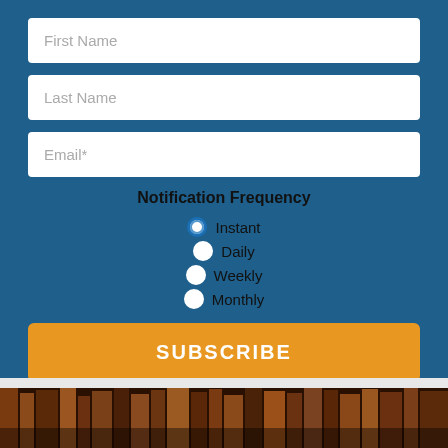First Name
Last Name
Email*
Notification Frequency
Instant (selected)
Daily
Weekly
Monthly
SUBSCRIBE
[Figure (photo): Dark photo of library bookshelves with warm brown/amber tones]